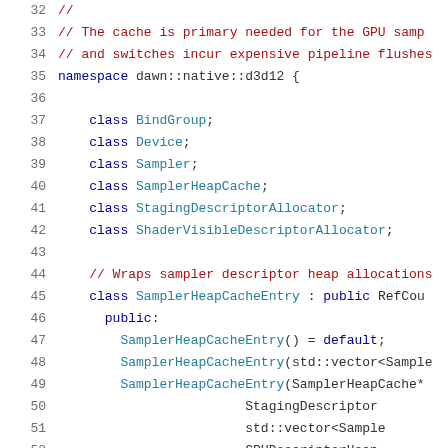[Figure (screenshot): Source code viewer showing C++ header file lines 32-52. Lines 32-34 show comments (in red) about GPU sampler cache and pipeline flushes. Line 35 opens namespace dawn::native::d3d12. Lines 37-42 declare forward-declared classes: BindGroup, Device, Sampler, SamplerHeapCache, StagingDescriptorAllocator, ShaderVisibleDescriptorAllocator. Line 44 is a comment about wrapping sampler descriptor heap allocations. Lines 45-52 begin class SamplerHeapCacheEntry declaration with constructors.]